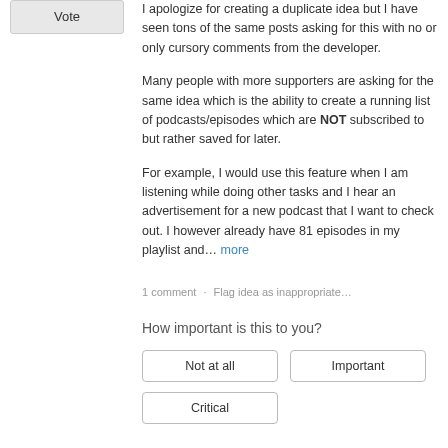Vote
I apologize for creating a duplicate idea but I have seen tons of the same posts asking for this with no or only cursory comments from the developer.

Many people with more supporters are asking for the same idea which is the ability to create a running list of podcasts/episodes which are NOT subscribed to but rather saved for later.

For example, I would use this feature when I am listening while doing other tasks and I hear an advertisement for a new podcast that I want to check out. I however already have 81 episodes in my playlist and… more
1 comment · Flag idea as inappropriate…
How important is this to you?
Not at all
Important
Critical